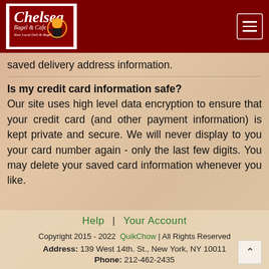Chelsea Bagel & Cafe
saved delivery address information.
Is my credit card information safe?
Our site uses high level data encryption to ensure that your credit card (and other payment information) is kept private and secure. We will never display to you your card number again - only the last few digits. You may delete your saved card information whenever you like.
Help  |  Your Account
Copyright 2015 - 2022  QuikChow | All Rights Reserved
Address: 139 West 14th. St., New York, NY 10011
Phone: 212-462-2435